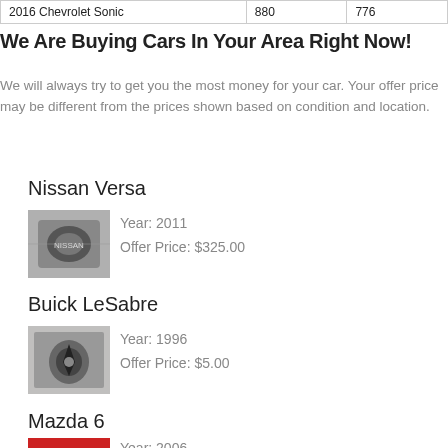| 2016 Chevrolet Sonic | 880 | 776 |
We Are Buying Cars In Your Area Right Now!
We will always try to get you the most money for your car. Your offer price may be different from the prices shown based on condition and location.
Nissan Versa
Year: 2011
Offer Price: $325.00
Buick LeSabre
Year: 1996
Offer Price: $5.00
Mazda 6
Year: 2006